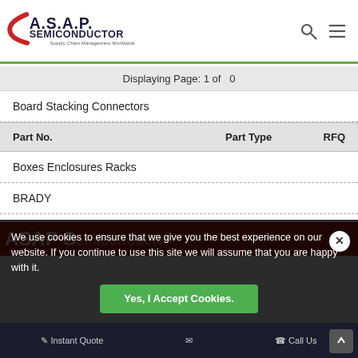A.S.A.P. SEMICONDUCTOR — Supply Chain Management Worldwide
Displaying Page: 1 of 0
Board Stacking Connectors
| Part No. | Part Type | RFQ |
| --- | --- | --- |
Boxes Enclosures Racks
BRADY
Buffer Amplifier ICs
Cable
Cable Assemblies
CABLE MTRS
We use cookies to ensure that we give you the best experience on our website. If you continue to use this site we will assume that you are happy with it.
Yes, I Accept Cookies.
ASAP Semiconductor — Instant Quote | Call Us